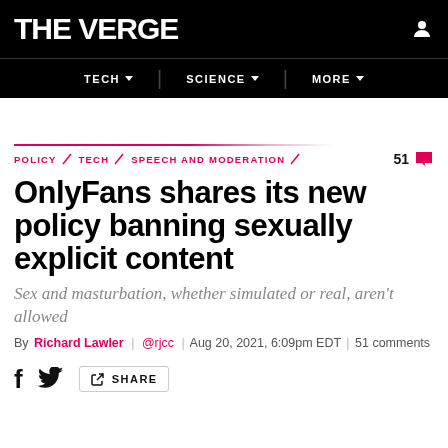THE VERGE
TECH | SCIENCE | MORE
POLICY \ TECH \ SPEECH AND MODERATION   51
OnlyFans shares its new policy banning sexually explicit content
Sex and masturbation, whether simulated or real, aren't allowed
By Richard Lawler | @rjcc | Aug 20, 2021, 6:09pm EDT | 51 comments
f  SHARE